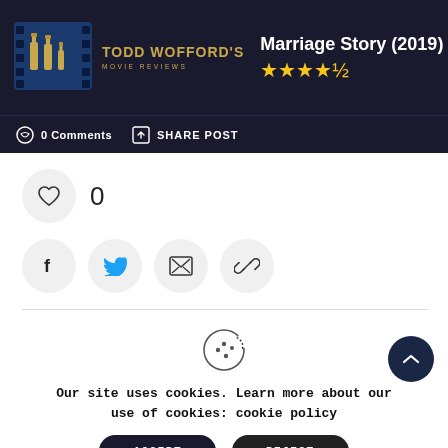TODD WOFFORD'S MOVIE REVIEWS — Marriage Story (2019) ★★★★½
0 Comments   SHARE POST
[Figure (screenshot): Heart (like) icon in a circle button with count 0]
[Figure (screenshot): Social share buttons: Facebook, Twitter, Email, Link]
Our site uses cookies. Learn more about our use of cookies: cookie policy
ACCEPT   REJECT